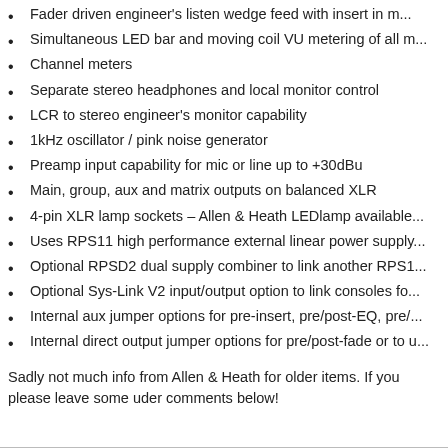Fader driven engineer's listen wedge feed with insert in m...
Simultaneous LED bar and moving coil VU metering of all m...
Channel meters
Separate stereo headphones and local monitor control
LCR to stereo engineer's monitor capability
1kHz oscillator / pink noise generator
Preamp input capability for mic or line up to +30dBu
Main, group, aux and matrix outputs on balanced XLR
4-pin XLR lamp sockets – Allen & Heath LEDlamp available...
Uses RPS11 high performance external linear power supply...
Optional RPSD2 dual supply combiner to link another RPS1...
Optional Sys-Link V2 input/output option to link consoles fo...
Internal aux jumper options for pre-insert, pre/post-EQ, pre/...
Internal direct output jumper options for pre/post-fade or to u...
Sadly not much info from Allen & Heath for older items. If you please leave some uder comments below!